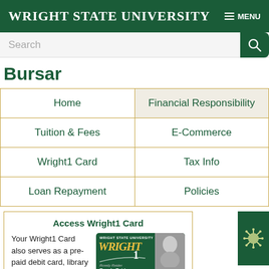Wright State University — MENU
Bursar
| Home | Financial Responsibility |
| Tuition & Fees | E-Commerce |
| Wright1 Card | Tax Info |
| Loan Repayment | Policies |
Access Wright1 Card
Your Wright1 Card also serves as a pre-paid debit card, library card, meal card, and an access card for recreation
[Figure (photo): Wright State University Wright1 Card showing Rowdy Raider STUDENT]